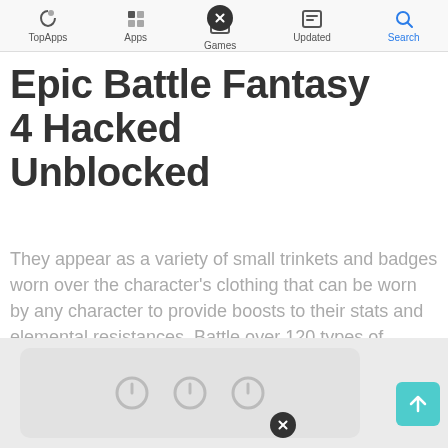TopApps | Apps | Games | Updated | Search
Epic Battle Fantasy 4 Hacked Unblocked
They appear as a variety of small trinkets and badges worn over the character's clothing that can be worn by any character to provide boosts to their stats and elemental resistances. Battle over 120 types of monsters, collect over 140 types of equipment and use over 130 different skills and spells!
[Figure (screenshot): Bottom portion of a mobile app screenshot showing a settings-like panel with three circular power/toggle icons on a light grey rounded rectangle, with a close (X) button overlay. A teal scroll-to-top arrow button is visible at the bottom right.]